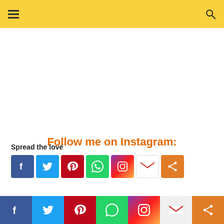Navigation header with hamburger menu and search icon on yellow background
Follow me on Instagram:
Spread the love
[Figure (infographic): Row of social media share icons: Facebook (blue), Twitter (light blue), Pinterest (red), WhatsApp (green), Instagram (gradient purple-orange), Gmail (red/white), Share (orange)]
Bottom social sharing bar with Facebook, Twitter, Pinterest, WhatsApp, Instagram, Gmail, Share icons